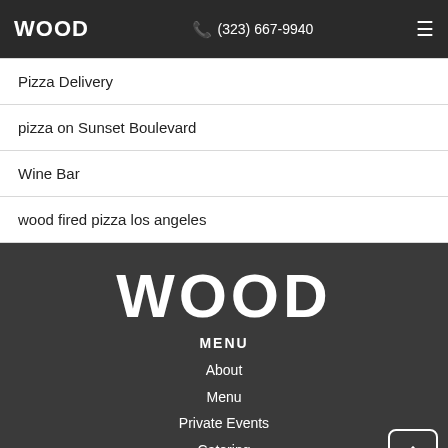WOOD  (323) 667-9940  ☰
Pizza Delivery
pizza on Sunset Boulevard
Wine Bar
wood fired pizza los angeles
WOOD
MENU
About
Menu
Private Events
Catering